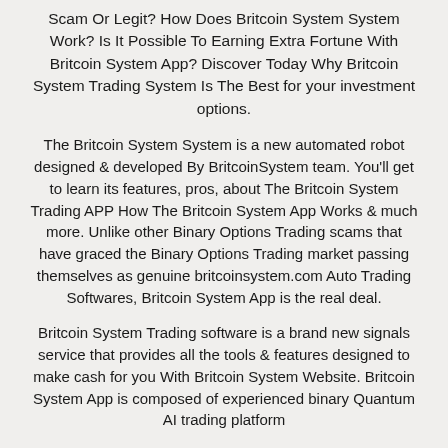Scam Or Legit? How Does Britcoin System System Work? Is It Possible To Earning Extra Fortune With Britcoin System App? Discover Today Why Britcoin System Trading System Is The Best for your investment options.
The Britcoin System System is a new automated robot designed & developed By BritcoinSystem team. You'll get to learn its features, pros, about The Britcoin System Trading APP How The Britcoin System App Works & much more. Unlike other Binary Options Trading scams that have graced the Binary Options Trading market passing themselves as genuine britcoinsystem.com Auto Trading Softwares, Britcoin System App is the real deal.
Britcoin System Trading software is a brand new signals service that provides all the tools & features designed to make cash for you With Britcoin System Website. Britcoin System App is composed of experienced binary Quantum AI trading platform